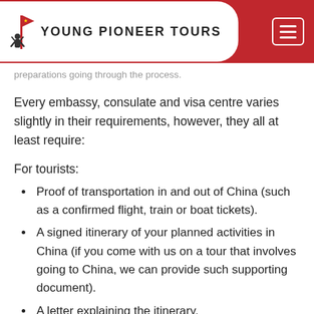Young Pioneer Tours
preparations going through the process.
Every embassy, consulate and visa centre varies slightly in their requirements, however, they all at least require:
For tourists:
Proof of transportation in and out of China (such as a confirmed flight, train or boat tickets).
A signed itinerary of your planned activities in China (if you come with us on a tour that involves going to China, we can provide such supporting document).
A letter explaining the itinerary.
For visitors:
A copy of the National ID Card (居民身份证) of the Chinese